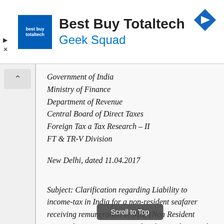[Figure (other): Best Buy Totaltech / Geek Squad advertisement banner with logo and navigation icon]
Government of India
Ministry of Finance
Department of Revenue
Central Board of Direct Taxes
Foreign Tax a Tax Research – II
FT & TR-V Division
New Delhi, dated 11.04.2017
Subject: Clarification regarding Liability to income-tax in India for a non-resident seafarer receiving remuneration in NRE (Non Resident External) account maintained with an Indian Bank.